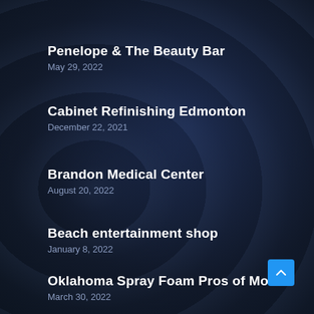Penelope & The Beauty Bar
May 29, 2022
Cabinet Refinishing Edmonton
December 22, 2021
Brandon Medical Center
August 20, 2022
Beach entertainment shop
January 8, 2022
Oklahoma Spray Foam Pros of Moore
March 30, 2022